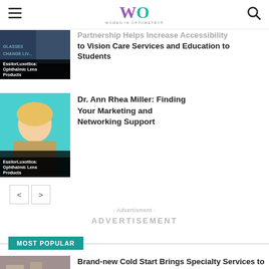Women in Optometry
Partnership Helps Increase Accessibility to Vision Care Services and Education to Students
[Figure (photo): Thumbnail image with overlay text: EssilorLuxottica: Ophthalmic Lens Products]
Dr. Ann Rhea Miller: Finding Your Marketing and Networking Support
[Figure (photo): Photo of a woman with blonde hair and teal glasses, with overlay text: EssilorLuxottica: Ophthalmic Lens Products]
- Advertisment -
ADVERTISEMENT
MOST POPULAR
Brand-new Cold Start Brings Specialty Services to the Community
[Figure (photo): Thumbnail photo of an interior space]